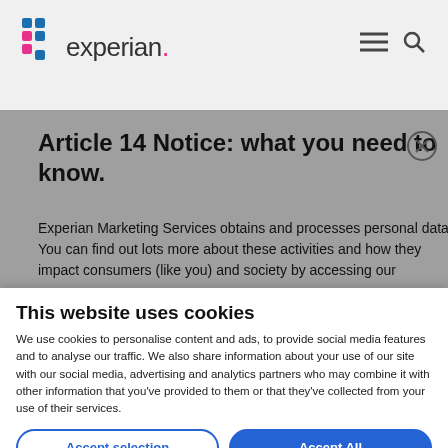Experian (logo) — navigation header with menu and search icons
Article 14 Notice: what you need to know.
Experian Marketing Services obtains and processes personal data. You can find out lots more about these activities and how they impact consumers (like you) and society by accessing our
This website uses cookies
We use cookies to personalise content and ads, to provide social media features and to analyse our traffic. We also share information about your use of our site with our social media, advertising and analytics partners who may combine it with other information that you've provided to them or that they've collected from your use of their services.
Accept selection | Accept All
Necessary  Preferences  Performance and analytics  Advertising  Show details